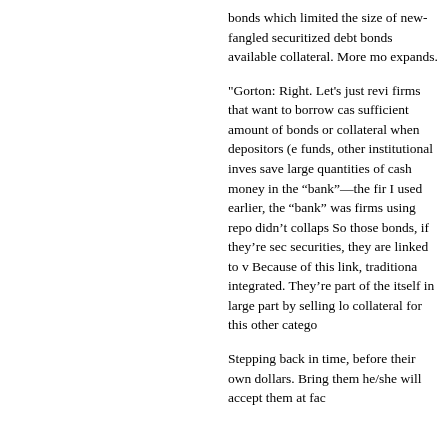bonds which limited the size fangled securitized debt bonds available collateral. More mo expands.
"Gorton: Right. Let's just revi firms that want to borrow cas sufficient amount of bonds or collateral when depositors (e funds, other institutional inves save large quantities of cash money in the “bank”—the fir I used earlier, the “bank” was firms using repo didn’t collaps So those bonds, if they’re sec securities, they are linked to v Because of this link, traditiona integrated. They’re part of the itself in large part by selling lo collateral for this other catego
Stepping back in time, before their own dollars. Bring them he/she will accept them at fac